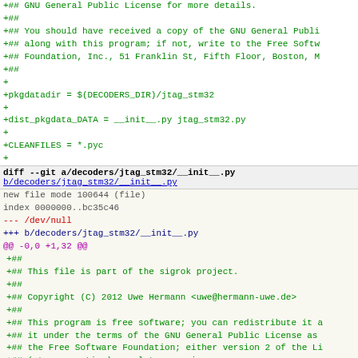+## GNU General Public License for more details.
+##
+## You should have received a copy of the GNU General Publi
+## along with this program; if not, write to the Free Softw
+## Foundation, Inc., 51 Franklin St, Fifth Floor, Boston, M
+##
+
+pkgdatadir = $(DECODERS_DIR)/jtag_stm32
+
+dist_pkgdata_DATA = __init__.py jtag_stm32.py
+
+CLEANFILES = *.pyc
+
diff --git a/decoders/jtag_stm32/__init__.py b/decoders/jtag_stm32/__init__.py
new file mode 100644 (file)
index 0000000..bc35c46
--- /dev/null
+++ b/decoders/jtag_stm32/__init__.py
@@ -0,0 +1,32 @@
+##
+## This file is part of the sigrok project.
+##
+## Copyright (C) 2012 Uwe Hermann <uwe@hermann-uwe.de>
+##
+## This program is free software; you can redistribute it a
+## it under the terms of the GNU General Public License as
+## the Free Software Foundation; either version 2 of the Li
+## (at your option) any later version.
+##
+## This program is distributed in the hope that it will be
+## WITHOUT ANY WARRANTY;